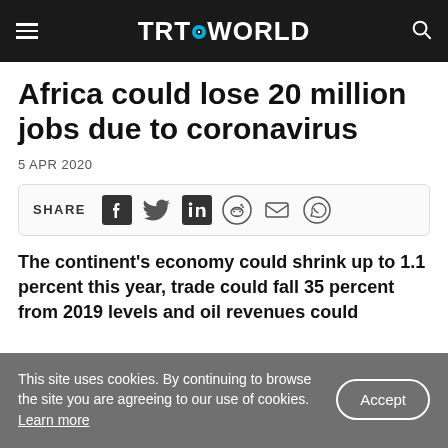TRT WORLD
Africa could lose 20 million jobs due to coronavirus
5 APR 2020
SHARE [social icons: Facebook, Twitter, LinkedIn, Reddit, Email, WhatsApp]
The continent's economy could shrink up to 1.1 percent this year, trade could fall 35 percent from 2019 levels and oil revenues could...
This site uses cookies. By continuing to browse the site you are agreeing to our use of cookies. Learn more   Accept